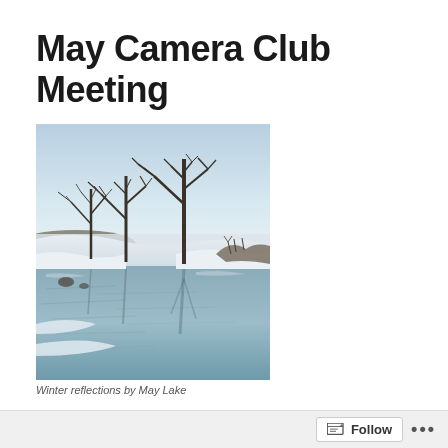May Camera Club Meeting
[Figure (photo): Winter landscape photograph showing bare trees reflected in a partially frozen river or stream, with snow on the banks and a pale blue sky.]
Winter reflections by May Lake